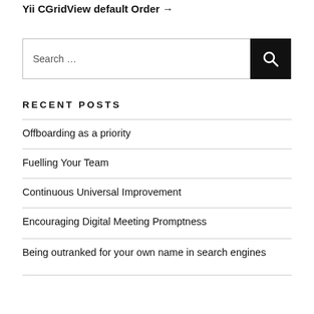Yii CGridView default Order →
Search …
RECENT POSTS
Offboarding as a priority
Fuelling Your Team
Continuous Universal Improvement
Encouraging Digital Meeting Promptness
Being outranked for your own name in search engines